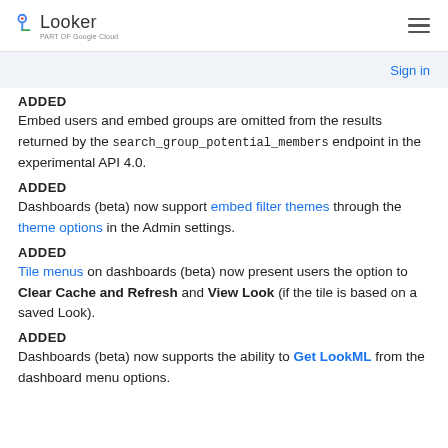Looker | part of Google Cloud
Sign in
ADDED
Embed users and embed groups are omitted from the results returned by the search_group_potential_members endpoint in the experimental API 4.0.
ADDED
Dashboards (beta) now support embed filter themes through the theme options in the Admin settings.
ADDED
Tile menus on dashboards (beta) now present users the option to Clear Cache and Refresh and View Look (if the tile is based on a saved Look).
ADDED
Dashboards (beta) now supports the ability to Get LookML from the dashboard menu options.